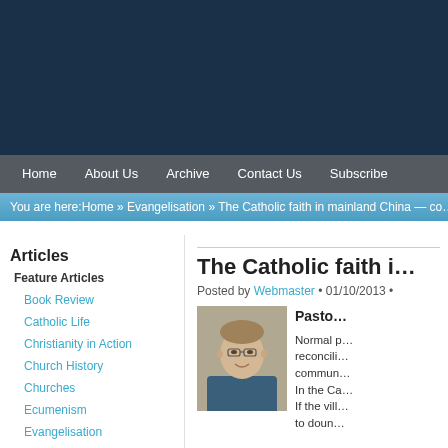[Figure (other): Dark navy blue website header banner]
Home  About Us  Archive  Contact Us  Subscribe
You are here: Home » Evangelisation » The Catholic faith in mainland China — cor…
Articles
Feature Articles
Book Review
Catholic Life
Christianity in Action
Church History
Churches
Ecumenism
Evangelisation
Historical New Zealand
The Catholic faith i…
Posted by Webmaster • 01/10/2013 •
[Figure (photo): Portrait photo of a man with glasses, smiling]
Pasto…

Normal p… reconcili… commun… In the Ca… If the vill… to doun…